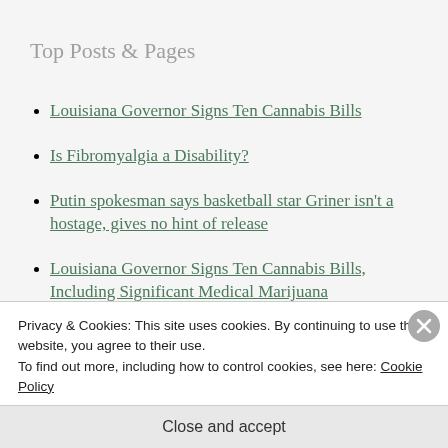Top Posts & Pages
Louisiana Governor Signs Ten Cannabis Bills
Is Fibromyalgia a Disability?
Putin spokesman says basketball star Griner isn't a hostage, gives no hint of release
Louisiana Governor Signs Ten Cannabis Bills, Including Significant Medical Marijuana
Privacy & Cookies: This site uses cookies. By continuing to use this website, you agree to their use.
To find out more, including how to control cookies, see here: Cookie Policy
Close and accept